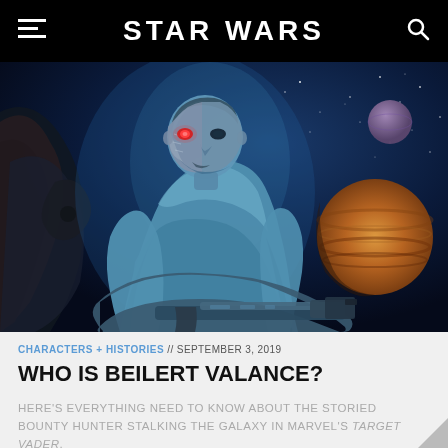STAR WARS
[Figure (illustration): Comic book illustration of Beilert Valance, a cyborg bounty hunter with a metallic face on one side, glowing red eye, wearing a blue jacket and holding a large blaster rifle. Background shows space with planets and a dark alien landscape.]
CHARACTERS + HISTORIES // SEPTEMBER 3, 2019
WHO IS BEILERT VALANCE?
HERE'S EVERYTHING NEED TO KNOW ABOUT THE STORIED BOUNTY HUNTER STALKING THE GALAXY IN MARVEL'S TARGET VADER.